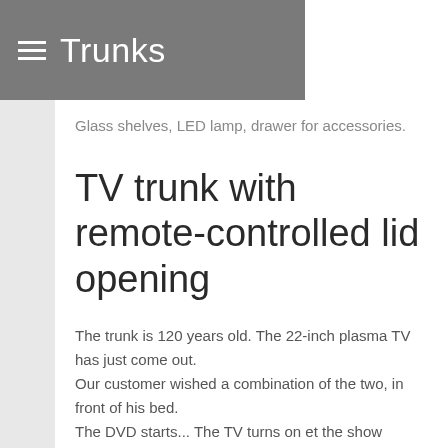Trunks
Glass shelves, LED lamp, drawer for accessories.
TV trunk with remote-controlled lid opening
The trunk is 120 years old. The 22-inch plasma TV has just come out.
Our customer wished a combination of the two, in front of his bed.
The DVD starts... The TV turns on et the show begins.
Watch the video